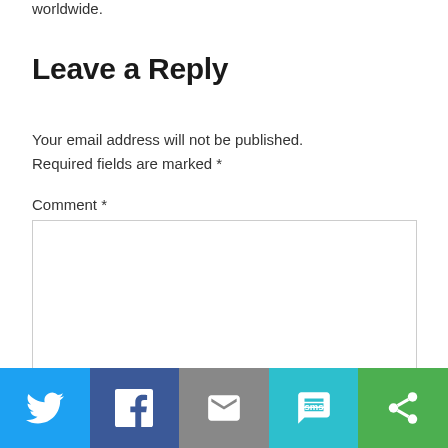worldwide.
Leave a Reply
Your email address will not be published. Required fields are marked *
Comment *
[Figure (screenshot): Empty comment text area input box with light gray border]
[Figure (infographic): Social sharing bar with Twitter (blue), Facebook (dark blue), Email (gray), SMS (teal), and a fifth share button (green)]